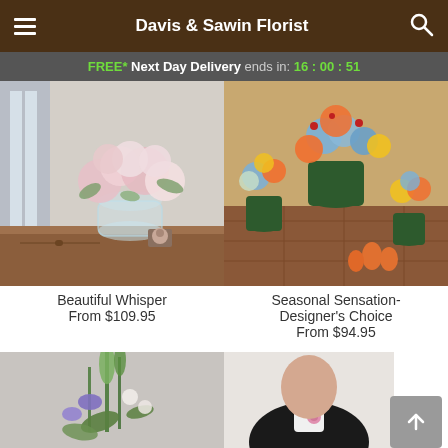Davis & Sawin Florist
FREE* Next Day Delivery ends in: 16:00:51
[Figure (photo): Beautiful Whisper floral arrangement with pink roses and white flowers in a glass vase on a wooden dresser]
Beautiful Whisper
From $109.95
[Figure (photo): Seasonal Sensation-Designer's Choice with orange, yellow, blue hydrangea flowers in green vases on a wooden surface]
Seasonal Sensation-Designer's Choice
From $94.95
[Figure (photo): Partial view of a floral arrangement with purple and green flowers]
[Figure (photo): Partial view of a person in black jacket with pink flower]